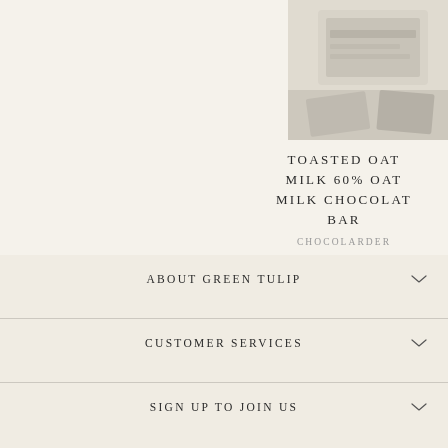[Figure (photo): Product image of Toasted Oat Milk chocolate bar packaging, partially visible in top right corner]
TOASTED OAT MILK 60% OAT MILK CHOCOLATE BAR
CHOCOLARDER
£5.50
ABOUT GREEN TULIP
CUSTOMER SERVICES
SIGN UP TO JOIN US